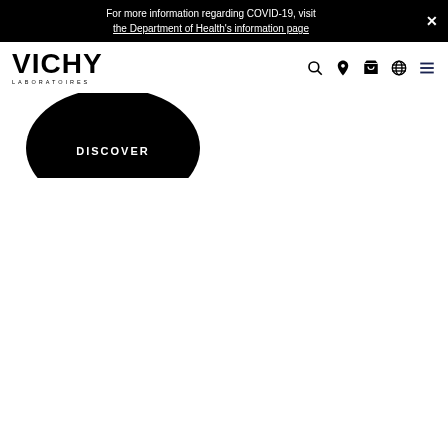For more information regarding COVID-19, visit the Department of Health's information page
[Figure (logo): Vichy Laboratoires logo]
[Figure (other): Navigation icons: search, location pin, shopping basket, globe, hamburger menu]
DISCOVER